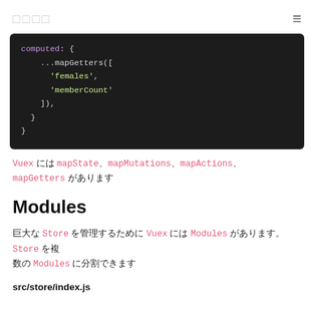□□□□  ☰
[Figure (screenshot): Dark-themed code block showing computed property with ...mapGetters(['females', 'memberCount'])]
Vuex には mapState、mapMutations、mapActions、mapGetters があります
Modules
巨大な Store を管理するために Vuex には Modules があります。Store を複数の Modules に分割できます
src/store/index.js